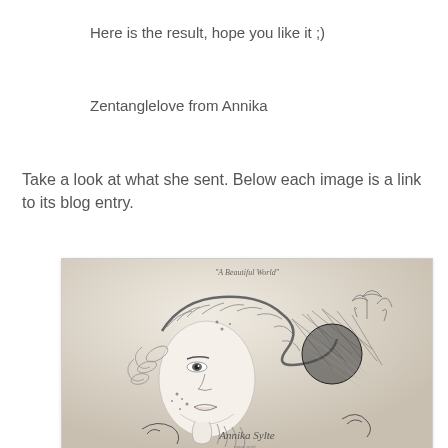Here is the result, hope you like it ;)
Zentanglelove from Annika
Take a look at what she sent. Below each image is a link to its blog entry.
[Figure (illustration): A detailed pencil/ink zentangle artwork depicting a woman's face partially visible, surrounded by intricate zentangle patterns including snakes, lace, net patterns, leaves and floral motifs. The image is signed 'Annika Sylte' with a website URL at the bottom and a title at the top reading 'A Beautiful World'.]